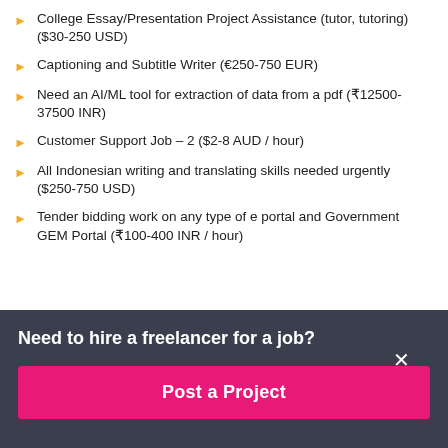College Essay/Presentation Project Assistance (tutor, tutoring) ($30-250 USD)
Captioning and Subtitle Writer (€250-750 EUR)
Need an AI/ML tool for extraction of data from a pdf (₹12500-37500 INR)
Customer Support Job – 2 ($2-8 AUD / hour)
All Indonesian writing and translating skills needed urgently ($250-750 USD)
Tender bidding work on any type of e portal and Government GEM Portal (₹100-400 INR / hour)
Need to hire a freelancer for a job?
Post a Project